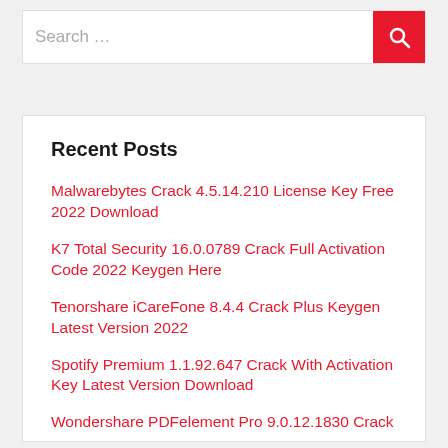Search …
Recent Posts
Malwarebytes Crack 4.5.14.210 License Key Free 2022 Download
K7 Total Security 16.0.0789 Crack Full Activation Code 2022 Keygen Here
Tenorshare iCareFone 8.4.4 Crack Plus Keygen Latest Version 2022
Spotify Premium 1.1.92.647 Crack With Activation Key Latest Version Download
Wondershare PDFelement Pro 9.0.12.1830 Crack